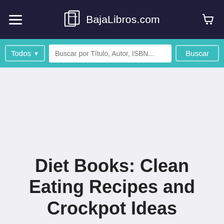BajaLibros.com
Todos  Buscar por Título, Autor, ISBN...  Buscar
Diet Books: Clean Eating Recipes and Crockpot Ideas